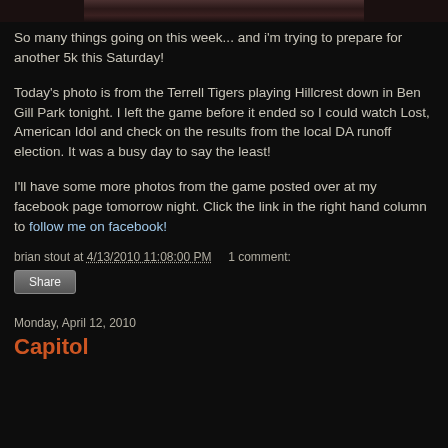[Figure (photo): Cropped top portion of a sports photo showing football players in dark and light uniforms]
So many things going on this week... and i'm trying to prepare for another 5k this Saturday!
Today's photo is from the Terrell Tigers playing Hillcrest down in Ben Gill Park tonight. I left the game before it ended so I could watch Lost, American Idol and check on the results from the local DA runoff election. It was a busy day to say the least!
I'll have some more photos from the game posted over at my facebook page tomorrow night. Click the link in the right hand column to follow me on facebook!
brian stout at 4/13/2010 11:08:00 PM    1 comment:
Share
Monday, April 12, 2010
Capitol